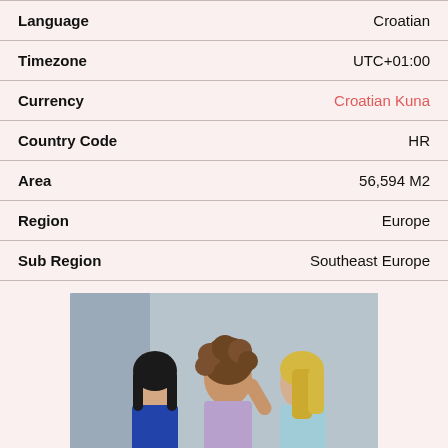| Field | Value |
| --- | --- |
| Language | Croatian |
| Timezone | UTC+01:00 |
| Currency | Croatian Kuna |
| Country Code | HR |
| Area | 56,594 M2 |
| Region | Europe |
| Sub Region | Southeast Europe |
[Figure (photo): Three women posing together against a light grey wall, wearing athletic/casual tops in blue, lavender, and light blue.]